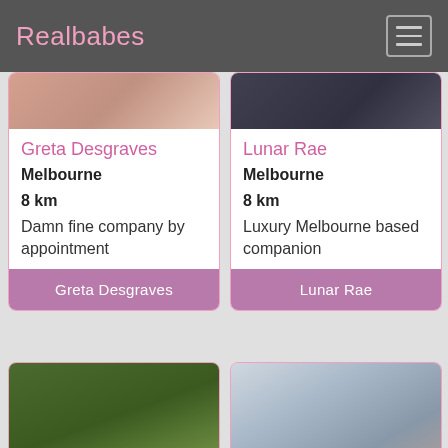Realbabes
[Figure (photo): Partial photo of person, top portion visible]
Greta Desgraves
Melbourne
8 km
Damn fine company by appointment
Greta Desgraves
[Figure (photo): Partial photo of person against dark background]
Lunar Rae
Melbourne
8 km
Luxury Melbourne based companion
Lunar Rae
[Figure (photo): Person with long dark hair outdoors on grass]
[Figure (photo): Person with light pink/purple hair indoors]